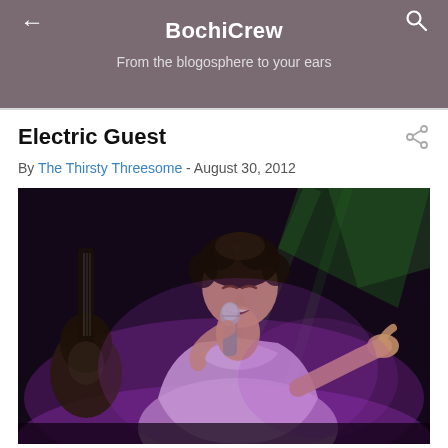BochiCrew
From the blogosphere to your ears
Electric Guest
By The Thirsty Threesome - August 30, 2012
[Figure (photo): Concert photo of a young male singer performing on stage with a microphone, wearing a white t-shirt, lit with purple stage lighting. A guitar is partially visible on the left side. The background shows dark stage with green light beams.]